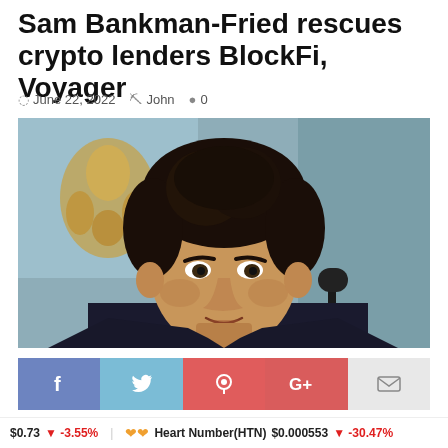Sam Bankman-Fried rescues crypto lenders BlockFi, Voyager
June 22, 2022  John  0
[Figure (photo): Sam Bankman-Fried seated at a hearing, wearing a dark suit with a microphone in front of him, blurred background with a golden ornament and teal wall.]
f  y  ®  G+  [mail icon]
$0.73  ▼ -3.55%  Heart Number(HTN)  $0.000553  ▼ -30.47%